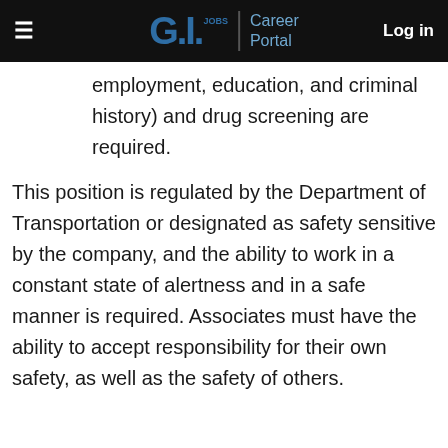G.I. JOBS | Career Portal   Log in
employment, education, and criminal history) and drug screening are required.
This position is regulated by the Department of Transportation or designated as safety sensitive by the company, and the ability to work in a constant state of alertness and in a safe manner is required. Associates must have the ability to accept responsibility for their own safety, as well as the safety of others.